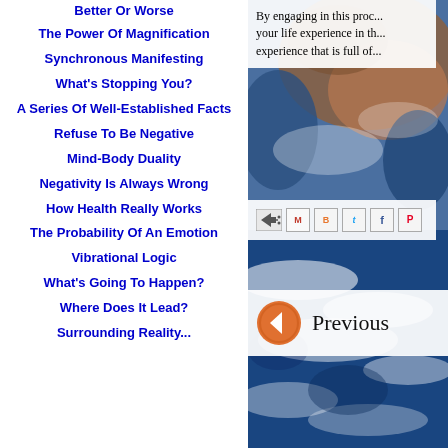Better Or Worse
The Power Of Magnification
Synchronous Manifesting
What's Stopping You?
A Series Of Well-Established Facts
Refuse To Be Negative
Mind-Body Duality
Negativity Is Always Wrong
How Health Really Works
The Probability Of An Emotion
Vibrational Logic
What's Going To Happen?
Where Does It Lead?
By engaging in this proc... your life experience in th... experience that is full of...
[Figure (screenshot): Email and social share buttons: email forward icon, Gmail, Blogger, Twitter, Facebook, Pinterest]
[Figure (screenshot): Previous navigation button: orange circular left-arrow icon with text 'Previous']
[Figure (photo): Background image of Earth from space showing blue ocean and cloud formations]